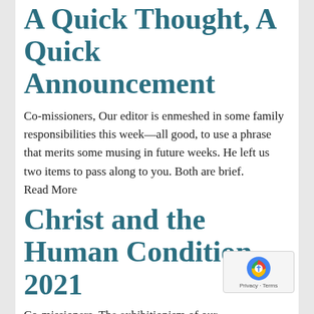A Quick Thought, A Quick Announcement
Co-missioners, Our editor is enmeshed in some family responsibilities this week—all good, to use a phrase that merits some musing in future weeks. He left us two items to pass along to you. Both are brief. Read More
Christ and the Human Condition, 2021
Co-missioners, The exhibitionism of our